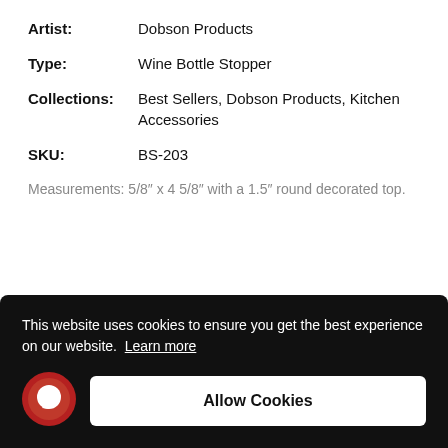| Artist: | Dobson Products |
| Type: | Wine Bottle Stopper |
| Collections: | Best Sellers, Dobson Products, Kitchen Accessories |
| SKU: | BS-203 |
Measurements: 5/8″ x 4 5/8″ with a 1.5″ round decorated top.
This website uses cookies to ensure you get the best experience on our website. Learn more
Allow Cookies